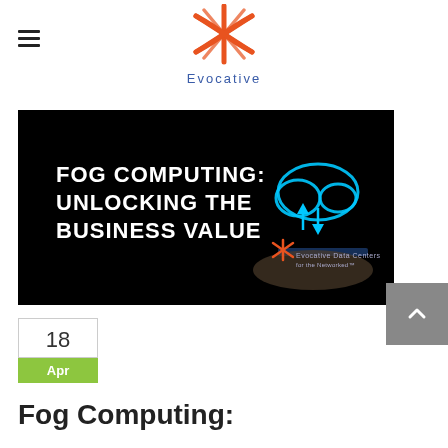Evocative
[Figure (illustration): Fog Computing: Unlocking the Business Value — dark background with glowing cloud icon and hand holding device, Evocative Data Centers logo bottom right]
18
Apr
Fog Computing: